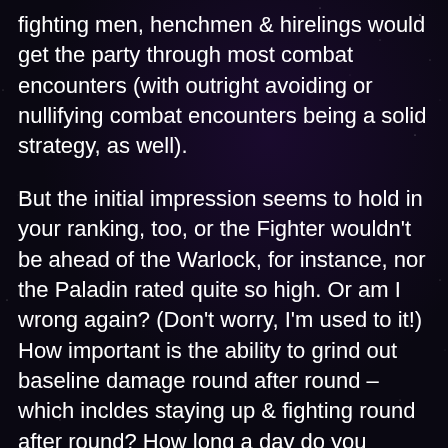fighting men, henchmen & hirelings would get the party through most combat encounters (with outright avoiding or nullifying combat encounters being a solid strategy, as well).
But the initial impression seems to hold in your ranking, too, or the Fighter wouldn't be ahead of the Warlock, for instance, nor the Paladin rated quite so high. Or am I wrong again? (Don't worry, I'm used to it!) How important is the ability to grind out baseline damage round after round – which incldes staying up & fighting round after round? How long a day do you assume? 6-8 medium-hard encounters with 2-3 short rests among them?
And thanks for the article!